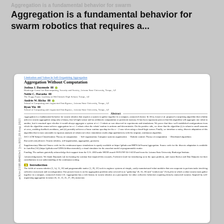Aggregation is a fundamental behavior for swarm robotics that requires a...
[Figure (screenshot): Screenshot of academic paper titled 'Aggregation Without Computation' with authors, abstract, and introduction section visible. arXiv:2108.09403v1 [cs.RO] 20 Aug 2021.]
Aggregation Without Computation
Joshua J. Daymude, Noble C. Harasha, Andres W. Richa, Ryan Yiu
Abstract: Aggregation is a fundamental behavior for swarm robotics that requires a system to gather together in a compact, connected cluster...
1 Introduction
The fields of swarm robotics and programmable matter seek to engineer systems of simple, easily manufactured robot modules that can cooperate to perform tasks involving collective movement and reconfiguration...